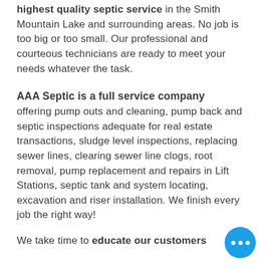highest quality septic service in the Smith Mountain Lake and surrounding areas. No job is too big or too small. Our professional and courteous technicians are ready to meet your needs whatever the task.
AAA Septic is a full service company
offering pump outs and cleaning, pump back and septic inspections adequate for real estate transactions, sludge level inspections, replacing sewer lines, clearing sewer line clogs, root removal, pump replacement and repairs in Lift Stations, septic tank and system locating, excavation and riser installation. We finish every job the right way!
We take time to educate our customers